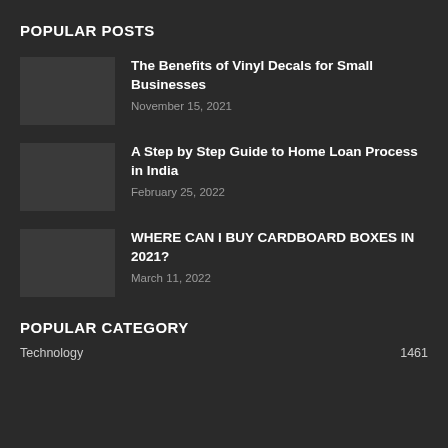POPULAR POSTS
The Benefits of Vinyl Decals for Small Businesses
November 15, 2021
A Step by Step Guide to Home Loan Process in India
February 25, 2022
WHERE CAN I BUY CARDBOARD BOXES IN 2021?
March 11, 2022
POPULAR CATEGORY
Technology	1461